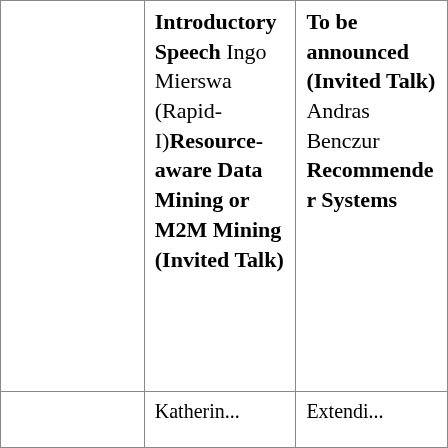|  | Introductory Speech Ingo Mierswa (Rapid-I)Resource-aware Data Mining or M2M Mining (Invited Talk) | To be announced (Invited Talk) Andras Benczur Recommender Systems |
|  | Katherin... | Extendi... |